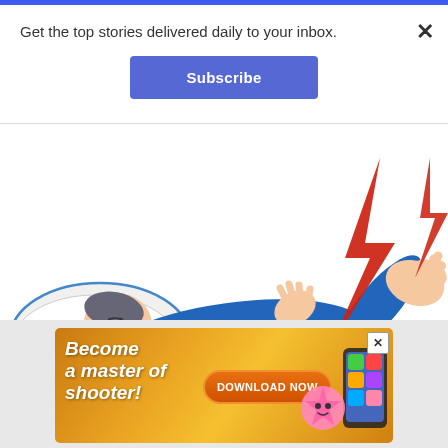Get the top stories delivered daily to your inbox.
Subscribe
[Figure (illustration): Illustration of a person lying in bed in blue pajamas with a red lightning bolt near their raised foot, suggesting leg cramp or pain. Person is lying on a white pillow.]
[Figure (illustration): Mobile game advertisement banner with orange/gold background. Text reads 'Become a master of shooter!' with a Download Now button, showing a pink cartoon starfish character and a smartphone with colorful game icons.]